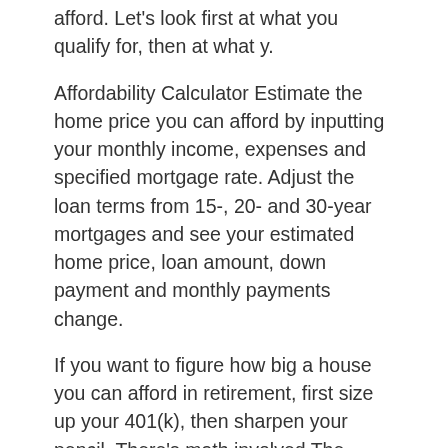afford. Let's look first at what you qualify for, then at what y.
Affordability Calculator Estimate the home price you can afford by inputting your monthly income, expenses and specified mortgage rate. Adjust the loan terms from 15-, 20- and 30-year mortgages and see your estimated home price, loan amount, down payment and monthly payments change.
If you want to figure how big a house you can afford in retirement, first size up your 401(k), then sharpen your pencil. There's math involved The editorial content below is based solely on the objective assessment of our writers and is not driven by advertising dollars. However, we may receive.
How Much House Can I Afford By Payment Redfin's Home Affordability Calculator will help you figure out how much house you can afford by using your income, down payment, monthly debt and current mortgage rates to search current real estate